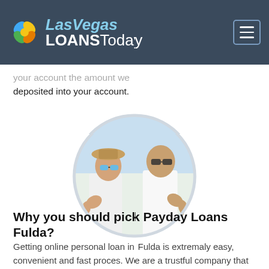Las Vegas LOANS Today
your account the amount we deposited into your account.
[Figure (photo): A smiling couple both giving thumbs up, displayed in a circular crop. The woman wears a hat and blue sunglasses; the man wears dark sunglasses. Outdoor blurred background.]
Why you should pick Payday Loans Fulda?
Getting online personal loan in Fulda is extremaly easy, convenient and fast proces. We are a trustful company that